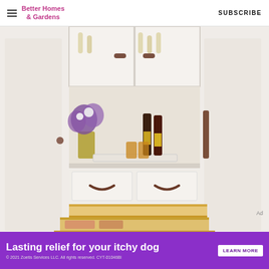Better Homes & Gardens  SUBSCRIBE
[Figure (photo): A white built-in cabinet/pantry with upper glass-front cabinets showing glassware, a middle open shelf styled as a bar area with purple flowers in a pitcher, wine bottles, and amber glasses on a tray, and lower section with two white drawers and three pull-out wooden drawer shelves, the bottom two extended open showing stored items and linens, on a hardwood floor with white cabinet doors on either side.]
Ad
[Figure (infographic): Purple advertisement banner reading 'Lasting relief for your itchy dog' with a 'LEARN MORE' button and fine print '© 2021 Zoetis Services LLC. All rights reserved. CYT-01046BI']